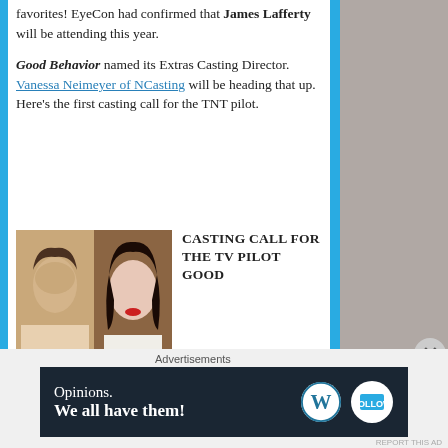favorites! EyeCon had confirmed that James Lafferty will be attending this year.
Good Behavior named its Extras Casting Director. Vanessa Neimeyer of NCasting will be heading that up. Here's the first casting call for the TNT pilot.
[Figure (photo): Two actors side by side — a man on the left and a woman on the right]
CASTING CALL FOR THE TV PILOT GOOD BEHAVIOR... DATES SUBJECT TO CHANGE... WEDNESDAY OCT. 14TH. "AFRICAN AMERICAN CLUB GOERS" Looking for African American Men and Women 18-40's that can work as upscale club goer in the Wilmington area. This is
Advertisements
[Figure (infographic): WordPress ad banner: Opinions. We all have them!]